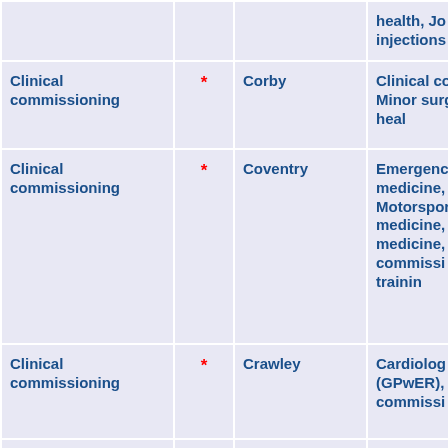| Type |  | Location | Services |
| --- | --- | --- | --- |
|  |  |  | health, Jo injections |
| Clinical commissioning | * | Corby | Clinical commissi Minor surg Child heal |
| Clinical commissioning | * | Coventry | Emergenc medicine, Motorspor medicine, medicine, commissi GP trainin |
| Clinical commissioning | * | Crawley | Cardiolog (GPwER), commissi |
| Clinical commissioning | * | Danbury | Family he Cardiolog health, GP |